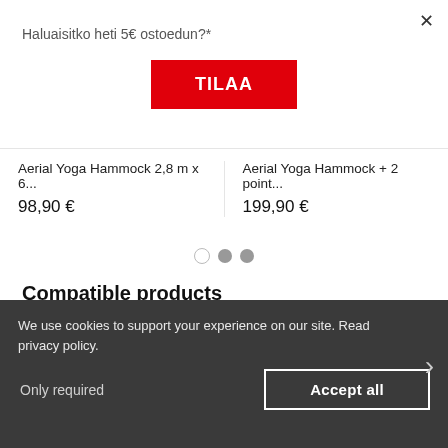Haluaisitko heti 5€ ostoedun?*
TILAA
Aerial Yoga Hammock 2,8 m x 6...
98,90 €
Aerial Yoga Hammock + 2 point...
199,90 €
Compatible products
We use cookies to support your experience on our site. Read privacy policy.
Only required
Accept all